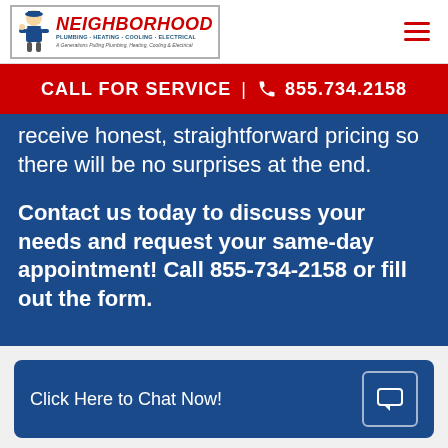NEIGHBORHOOD PLUMBING · HEATING · COOLING · ELECTRICAL | A Generations Pulling Plumbing, Heating, Cooling & Electrical
CALL FOR SERVICE | 855.734.2158
receive honest, straightforward pricing so there will be no surprises at the end.
Contact us today to discuss your needs and request your same-day appointment! Call 855-734-2158 or fill out the form.
Click Here to Chat Now!